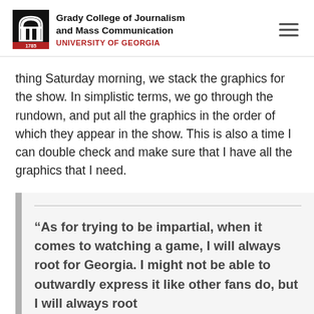Grady College of Journalism and Mass Communication
UNIVERSITY OF GEORGIA
thing Saturday morning, we stack the graphics for the show. In simplistic terms, we go through the rundown, and put all the graphics in the order of which they appear in the show. This is also a time I can double check and make sure that I have all the graphics that I need.
“As for trying to be impartial, when it comes to watching a game, I will always root for Georgia. I might not be able to outwardly express it like other fans do, but I will always root